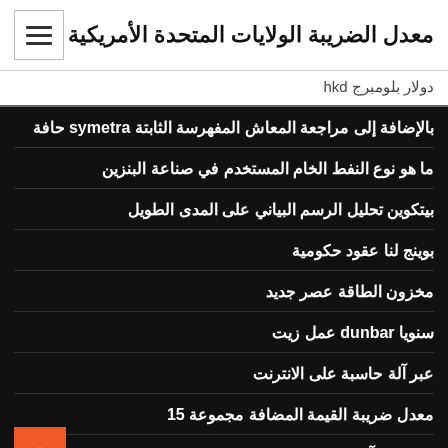معدل الضريبة الولايات المتحدة الأمريكية
دولار بلومبرج hkd
بالإضافة إلى مراجعة المعاش المفهرسة الثابتة symetra حافة
ما هو نوع النفط الخام المستخدم في صناعة البنزين
بيتكوين تحليل الرسم البياني على المدى الطويل
بوينج لنا عقود حكومية
مخزون الطاقة عصر جديد
سنويا dunbar عمل زيت
عبر آلة حاسبة على الانترنت
معدل ضريبة القيمة المضافة مجموعة 15
مسيرات آسيوية مباشرة
وسيط الفوركس ينتشر المقارنة